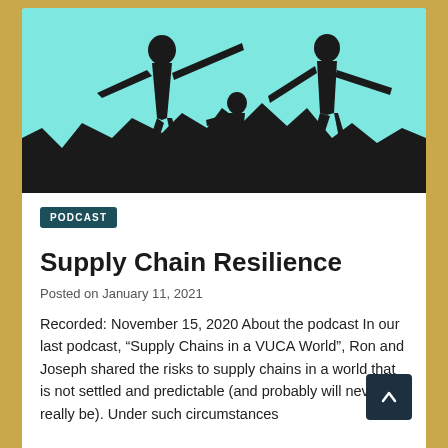[Figure (illustration): Silhouette illustration of three human figures on rocky terrain against a teal/cyan background. The figures appear to be helping each other climb or traverse rocks, with outstretched hands.]
PODCAST
Supply Chain Resilience
Posted on January 11, 2021
Recorded: November 15, 2020 About the podcast In our last podcast, “Supply Chains in a VUCA World”, Ron and Joseph shared the risks to supply chains in a world that is not settled and predictable (and probably will never really be). Under such circumstances